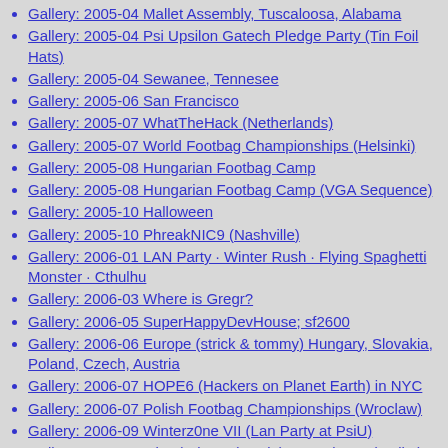Gallery: 2005-04 Mallet Assembly, Tuscaloosa, Alabama
Gallery: 2005-04 Psi Upsilon Gatech Pledge Party (Tin Foil Hats)
Gallery: 2005-04 Sewanee, Tennesee
Gallery: 2005-06 San Francisco
Gallery: 2005-07 WhatTheHack (Netherlands)
Gallery: 2005-07 World Footbag Championships (Helsinki)
Gallery: 2005-08 Hungarian Footbag Camp
Gallery: 2005-08 Hungarian Footbag Camp (VGA Sequence)
Gallery: 2005-10 Halloween
Gallery: 2005-10 PhreakNIC9 (Nashville)
Gallery: 2006-01 LAN Party · Winter Rush · Flying Spaghetti Monster · Cthulhu
Gallery: 2006-03 Where is Gregr?
Gallery: 2006-05 SuperHappyDevHouse; sf2600
Gallery: 2006-06 Europe (strick & tommy) Hungary, Slovakia, Poland, Czech, Austria
Gallery: 2006-07 HOPE6 (Hackers on Planet Earth) in NYC
Gallery: 2006-07 Polish Footbag Championships (Wroclaw)
Gallery: 2006-09 Winterz0ne VII (Lan Party at PsiU)
Gallery: 2006-10 Misc (Atlanta (gtpsiu); Tuscaloosa (Mallet); Kentucky (Centre); Bloomington)
Gallery: 2006-10 PNX (Phreaknic 10, Nashville TN) Strick And Gregr Pic